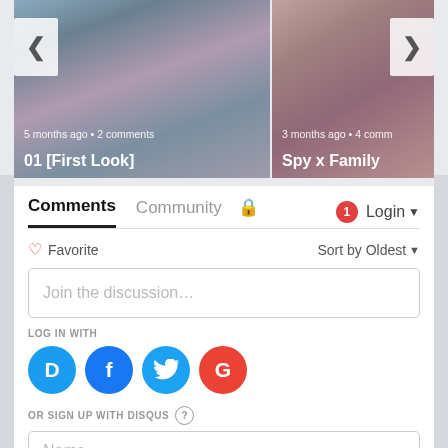[Figure (screenshot): Left anime card showing a pink-haired character, with left navigation arrow, timestamp '5 months ago • 2 comments', and title '01 [First Look]']
[Figure (screenshot): Right anime card showing a dark-haired character, with right navigation arrow, timestamp '3 months ago • 4 comm' (truncated), and title 'Spy x Family' (truncated)]
Comments	Community	🔒	1	Login ▾
♡ Favorite	Sort by Oldest ▾
Join the discussion...
LOG IN WITH
[Figure (logo): Social login icons: Disqus (blue D), Facebook (blue f), Twitter (blue bird), Google (red G)]
OR SIGN UP WITH DISQUS ?
Name